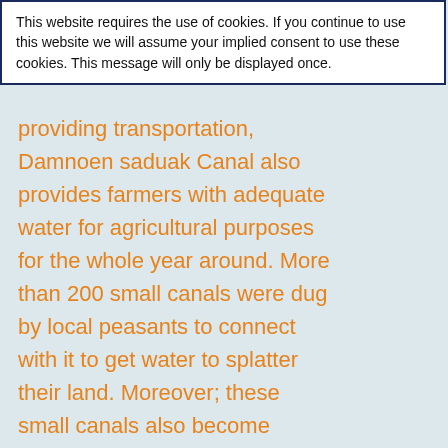This website requires the use of cookies. If you continue to use this website we will assume your implied consent to use these cookies. This message will only be displayed once.
providing transportation, Damnoen saduak Canal also provides farmers with adequate water for agricultural purposes for the whole year around. More than 200 small canals were dug by local peasants to connect with it to get water to splatter their land. Moreover; these small canals also become propitious ways of taking their agricultural products to the markets in neighboring provinces and Bangkok.

Day in and day out from about 8:00am to about 11:00am the Floating Market is routinely